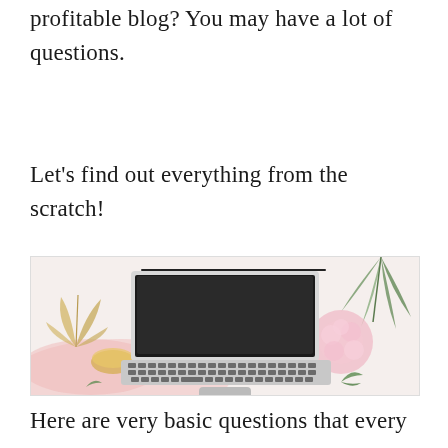profitable blog? You may have a lot of questions.
Let's find out everything from the scratch!
[Figure (photo): Flat-lay photo of a MacBook laptop on a white desk with pink fabric, pink hydrangea flower, gold monstera leaf, palm leaf, small gold dish with items, and green leaves scattered around.]
Here are very basic questions that every